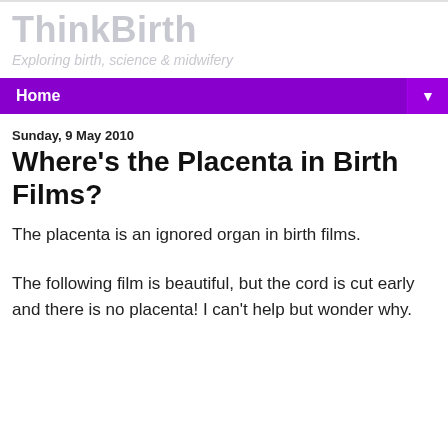ThinkBirth
Exploring birth, science & midwifery
Home
Sunday, 9 May 2010
Where's the Placenta in Birth Films?
The placenta is an ignored organ in birth films.
The following film is beautiful, but the cord is cut early and there is no placenta! I can't help but wonder why.